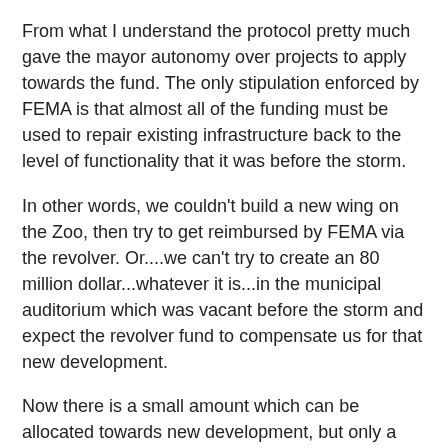From what I understand the protocol pretty much gave the mayor autonomy over projects to apply towards the fund. The only stipulation enforced by FEMA is that almost all of the funding must be used to repair existing infrastructure back to the level of functionality that it was before the storm.
In other words, we couldn't build a new wing on the Zoo, then try to get reimbursed by FEMA via the revolver. Or....we can't try to create an 80 million dollar...whatever it is...in the municipal auditorium which was vacant before the storm and expect the revolver fund to compensate us for that new development.
Now there is a small amount which can be allocated towards new development, but only a small amount.
City Council didn't have discretionary control over what was assigned to the revolver...so we can't really blame them. To her credit, Stacy Head has been ringing the alarm since last summer that we need to get a handle on the revolver before...well....exactly what Chrisman is claiming has happened.